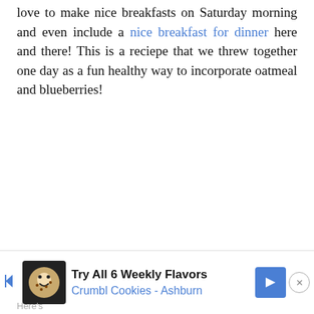love to make nice breakfasts on Saturday morning and even include a nice breakfast for dinner here and there! This is a reciepe that we threw together one day as a fun healthy way to incorporate oatmeal and blueberries!
[Figure (other): Advertisement banner for Crumbl Cookies - Ashburn: Try All 6 Weekly Flavors]
Here's